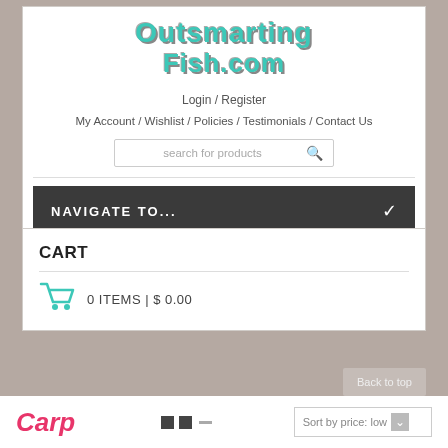[Figure (logo): OutsmartingFish.com logo in teal/cyan stylized text]
Login / Register
My Account / Wishlist / Policies / Testimonials / Contact Us
search for products
NAVIGATE TO...
CART
0 ITEMS | $ 0.00
Back to top
Carp
Sort by price: low